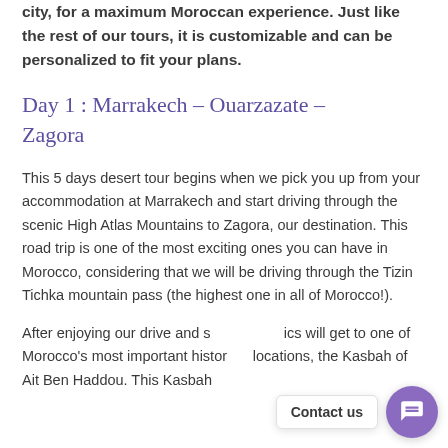city, for a maximum Moroccan experience. Just like the rest of our tours, it is customizable and can be personalized to fit your plans.
Day 1 : Marrakech – Ouarzazate – Zagora
This 5 days desert tour begins when we pick you up from your accommodation at Marrakech and start driving through the scenic High Atlas Mountains to Zagora, our destination. This road trip is one of the most exciting ones you can have in Morocco, considering that we will be driving through the Tizin Tichka mountain pass (the highest one in all of Morocco!).
After enjoying our drive and s… ics will get to one of Morocco's most important histor… locations, the Kasbah of Ait Ben Haddou. This Kasbah